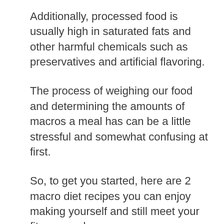Additionally, processed food is usually high in saturated fats and other harmful chemicals such as preservatives and artificial flavoring.
The process of weighing our food and determining the amounts of macros a meal has can be a little stressful and somewhat confusing at first.
So, to get you started, here are 2 macro diet recipes you can enjoy making yourself and still meet your fitness goals.